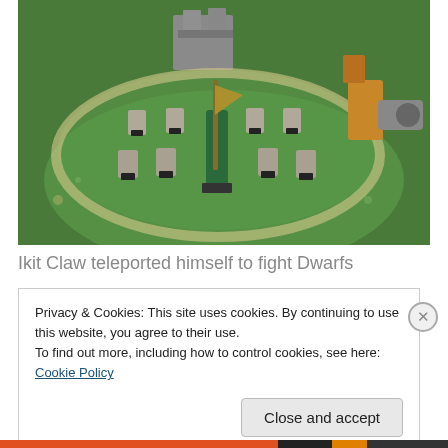[Figure (photo): Photograph of fantasy miniature wargaming figures on a green felt tabletop. Multiple dwarf miniatures on black square bases are arranged in a group, with a central character holding a staff. Stone ruins and another larger character visible in the background.]
Ikit Claw teleported himself to fight Dwarfs
Privacy & Cookies: This site uses cookies. By continuing to use this website, you agree to their use.
To find out more, including how to control cookies, see here: Cookie Policy
Close and accept